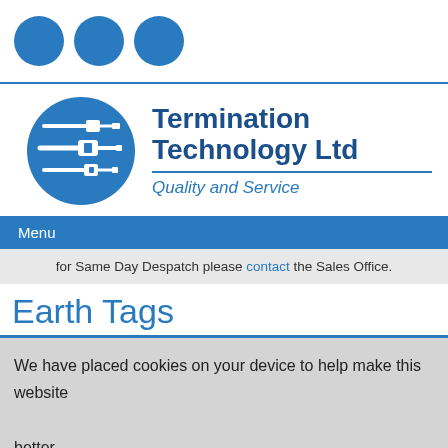[Figure (logo): Three blue circles decorative header bar]
[Figure (logo): Termination Technology Ltd logo: blue circle with cable/connector icons, company name and tagline 'Quality and Service']
Menu
for Same Day Despatch please contact the Sales Office.
Earth Tags
We have placed cookies on your device to help make this website better.
Ok